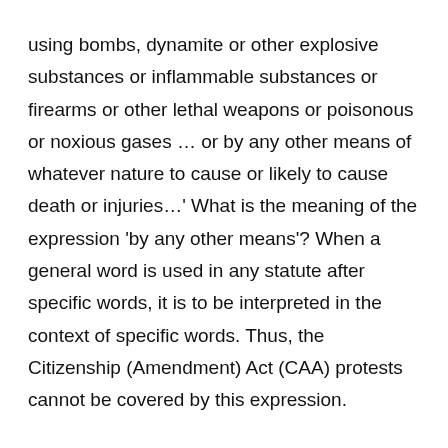using bombs, dynamite or other explosive substances or inflammable substances or firearms or other lethal weapons or poisonous or noxious gases … or by any other means of whatever nature to cause or likely to cause death or injuries…' What is the meaning of the expression 'by any other means'? When a general word is used in any statute after specific words, it is to be interpreted in the context of specific words. Thus, the Citizenship (Amendment) Act (CAA) protests cannot be covered by this expression.
In Yaqoob Abdul Razzak Memon (2013), the Supreme Court said that terrorist acts can range from threats to actual assassinations, kidnappings, airline hijacking, car